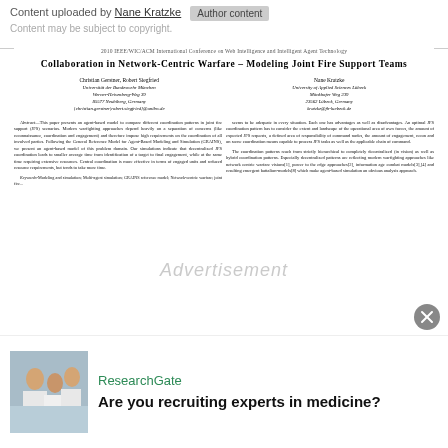Content uploaded by Nane Kratzke   Author content
Content may be subject to copyright.
2010 IEEE/WIC/ACM International Conference on Web Intelligence and Intelligent Agent Technology
Collaboration in Network-Centric Warfare – Modeling Joint Fire Support Teams
Christian Gerstner, Robert Siegfried
Universität der Bundeswehr München
Werner-Heisenberg-Weg 39
85577 Neubiberg, Germany
{christian.gerstner|robert.siegfried}@unibw.de
Nane Kratzke
University of Applied Sciences Lübeck
Mönkhofer Weg 239
23562 Lübeck, Germany
kratzke@fh-luebeck.de
Abstract—This paper presents an agent-based model to compare different coordination patterns in joint fire support (JFS) scenarios. Modern warfighting approaches depend heavily on a separation of concerns (like reconnaissance, coordination and engagement) and therefore impose high requirements on the coordination of all involved parties. Following the General Reference Model for Agent-Based Modeling and Simulation (GRAINS), we present an agent-based model of this problem domain. Our simulations indicate that decentralized JFS coordination leads to smaller average time from identification of a target to final engagement, while at the same time requiring extensive resources. Central coordination is more effective in terms of engaged units and reduced resource requirements, but tends to take more time.

Keywords-Modeling and simulation; Multi-agent simulation; GRAINS reference model; Network-centric warfare; joint fire...
seems to be adequate in every situation. Each one has advantages as well as disadvantages. An optimal JFS coordination pattern has to consider the extent and landscape of the operational area of own forces, the amount of expected JFS requests, a defined area of responsibility of command nodes, the amount of engagement, recon and on scene coordination means capable to process JFS tasks as well as the applicable chain of command.

The coordination patterns reach from strictly hierarchical to completely decentralized (in vision) as well as hybrid coordination patterns. Especially decentralized patterns are reflecting modern warfighting approaches like network centric warfare visions[1], power to the edge approaches[2], information age combat models[3],[4] and resulting emergent battalion-models[8] which make agent-based simulation an obvious analysis approach.
[Figure (screenshot): ResearchGate advertisement banner with photo of people in white lab coats and text 'Are you recruiting experts in medicine?']
ResearchGate
Are you recruiting experts in medicine?